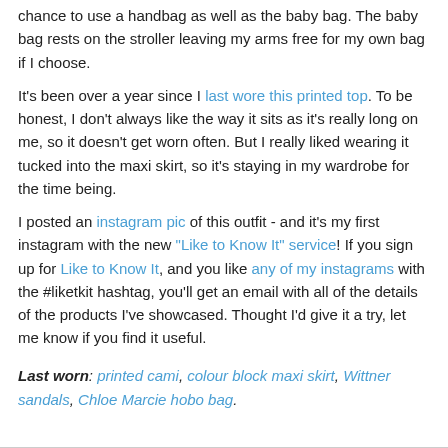chance to use a handbag as well as the baby bag. The baby bag rests on the stroller leaving my arms free for my own bag if I choose.
It's been over a year since I last wore this printed top. To be honest, I don't always like the way it sits as it's really long on me, so it doesn't get worn often. But I really liked wearing it tucked into the maxi skirt, so it's staying in my wardrobe for the time being.
I posted an instagram pic of this outfit - and it's my first instagram with the new "Like to Know It" service! If you sign up for Like to Know It, and you like any of my instagrams with the #liketkit hashtag, you'll get an email with all of the details of the products I've showcased. Thought I'd give it a try, let me know if you find it useful.
Last worn: printed cami, colour block maxi skirt, Wittner sandals, Chloe Marcie hobo bag.